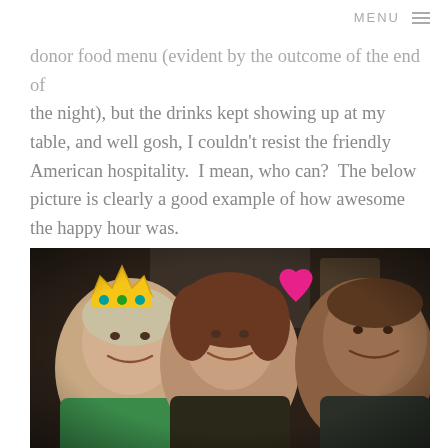MENU ≡
donor food menu (evident by the outcome of the end of the night), but the drinks kept showing up at my table, and well gosh, I couldn't resist the friendly American hospitality.  I mean, who can?  The below picture is clearly a good example of how awesome the happy hour was.
[Figure (photo): Selfie photo of three smiling people at a bar/restaurant. The woman on the left has a digital crown emoji overlay on her head. There is a pink heart emoji in the upper center. The people appear happy and are posing together.]